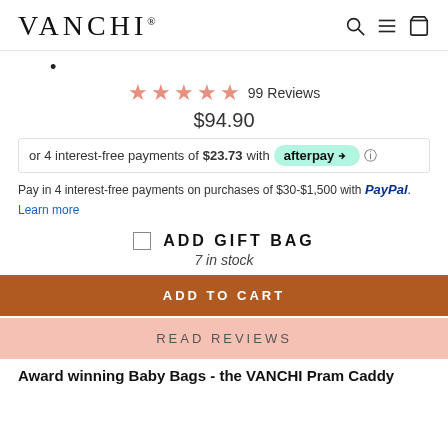VANCHI®
★★★★★ 99 Reviews
$94.90
or 4 interest-free payments of $23.73 with afterpay
Pay in 4 interest-free payments on purchases of $30-$1,500 with PayPal. Learn more
ADD GIFT BAG
7 in stock
ADD TO CART
READ REVIEWS
Award winning Baby Bags - the VANCHI Pram Caddy